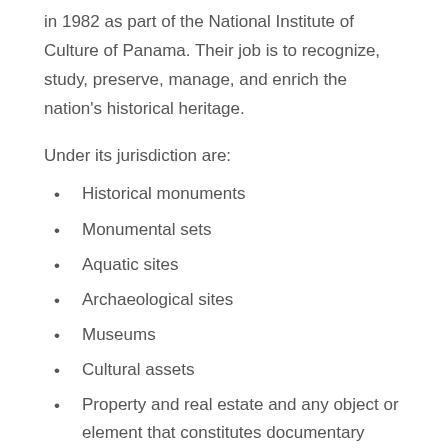in 1982 as part of the National Institute of Culture of Panama. Their job is to recognize, study, preserve, manage, and enrich the nation's historical heritage.
Under its jurisdiction are:
Historical monuments
Monumental sets
Aquatic sites
Archaeological sites
Museums
Cultural assets
Property and real estate and any object or element that constitutes documentary evidence of the historical past